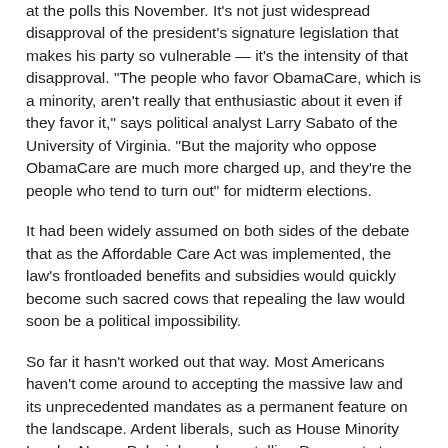at the polls this November. It's not just widespread disapproval of the president's signature legislation that makes his party so vulnerable — it's the intensity of that disapproval. "The people who favor ObamaCare, which is a minority, aren't really that enthusiastic about it even if they favor it," says political analyst Larry Sabato of the University of Virginia. "But the majority who oppose ObamaCare are much more charged up, and they're the people who tend to turn out" for midterm elections.
It had been widely assumed on both sides of the debate that as the Affordable Care Act was implemented, the law's frontloaded benefits and subsidies would quickly become such sacred cows that repealing the law would soon be a political impossibility.
So far it hasn't worked out that way. Most Americans haven't come around to accepting the massive law and its unprecedented mandates as a permanent feature on the landscape. Ardent liberals, such as House Minority Leader Nancy Pelosi, have been telling Democrats to run as unabashed defenders of ObamaCare, insisting "it's a winner"